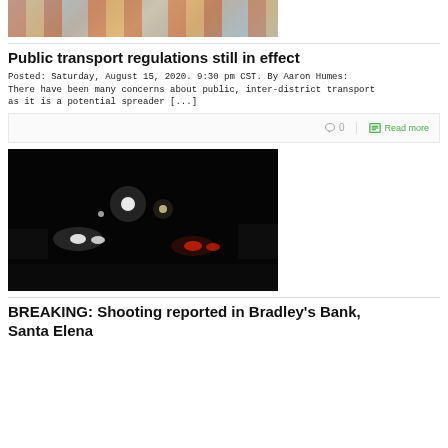[Figure (photo): Top partial image of a bridge or cable car with colorful stripes, cropped at top]
Public transport regulations still in effect
Posted: Saturday, August 15, 2020. 9:30 pm CST. By Aaron Humes: There have been many concerns about public, inter-district transport as it is a potential spreader [...]
0  Read more
[Figure (photo): Night scene with vehicle headlights on a dark road]
BREAKING: Shooting reported in Bradley's Bank, Santa Elena